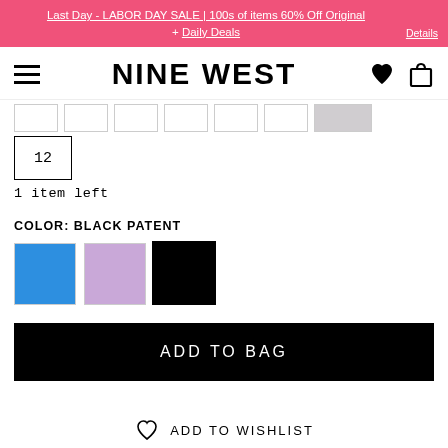Last Day - LABOR DAY SALE | 100s of items 60% Off Original + Daily Deals Details
[Figure (logo): Nine West logo with hamburger menu, heart and bag icons]
[Figure (other): Size selector boxes, sizes mostly empty/unreadable, size 12 selected]
1 item left
COLOR: BLACK PATENT
[Figure (other): Three color swatches: blue, lilac, black (selected with border)]
ADD TO BAG
ADD TO WISHLIST